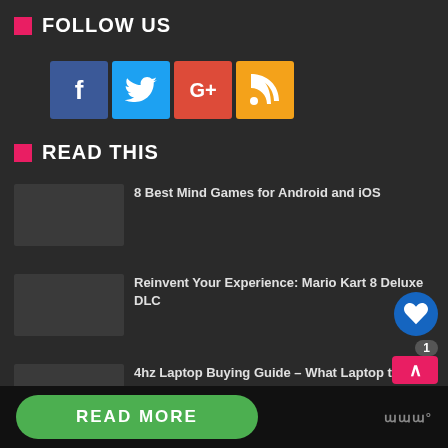FOLLOW US
[Figure (other): Social media icons: Facebook (blue), Twitter (light blue), Google+ (red), RSS (orange)]
READ THIS
8 Best Mind Games for Android and iOS
Reinvent Your Experience: Mario Kart 8 Deluxe DLC
4hz Laptop Buying Guide – What Laptop to Buy?
READ MORE
WHAT'S NEXT → This amazing new...